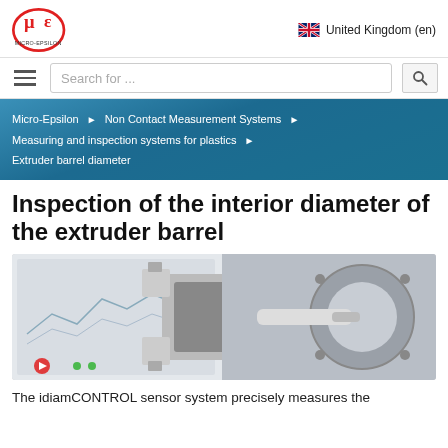Micro-Epsilon logo | United Kingdom (en)
Search for ...
Micro-Epsilon ▶ Non Contact Measurement Systems ▶ Measuring and inspection systems for plastics ▶ Extruder barrel diameter
Inspection of the interior diameter of the extruder barrel
[Figure (photo): idiamCONTROL sensor system components showing the cylindrical measurement probe with arms extended and mounting flanges, alongside a real-world installation photo of the sensor inserted into a machine barrel]
The idiamCONTROL sensor system precisely measures the